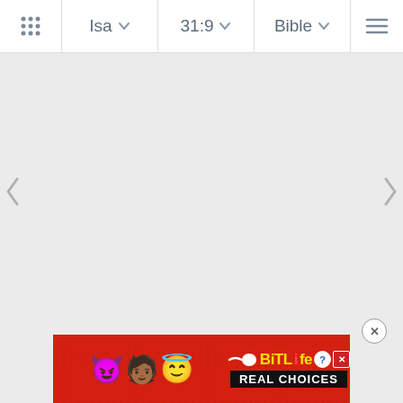⊞  Isa  ∨  31:9  ∨  Bible  ∨  ≡
[Figure (screenshot): Main Bible app content area — blank/loading state with left and right navigation arrows on sides]
[Figure (infographic): BitLife advertisement banner with devil emoji, woman emoji, angel emoji, sperm emoji, BitLife logo with question mark and X, and text REAL CHOICES on black background. Close (X) button above banner.]